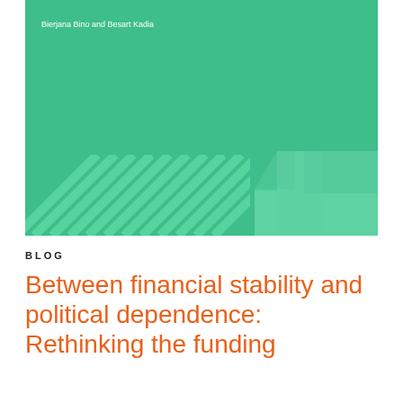[Figure (illustration): Green cover image with diagonal stripe pattern and arrow graphic, with author names 'Bierjana Bino and Besart Kadia' in white text at top left]
BLOG
Between financial stability and political dependence: Rethinking the funding model for the BCBi